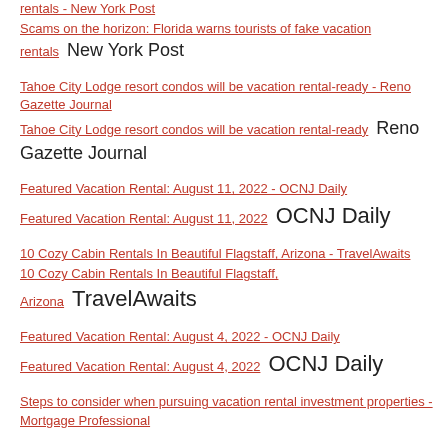rentals - New York Post | Scams on the horizon: Florida warns tourists of fake vacation rentals  New York Post
Tahoe City Lodge resort condos will be vacation rental-ready - Reno Gazette Journal | Tahoe City Lodge resort condos will be vacation rental-ready  Reno Gazette Journal
Featured Vacation Rental: August 11, 2022 - OCNJ Daily | Featured Vacation Rental: August 11, 2022  OCNJ Daily
10 Cozy Cabin Rentals In Beautiful Flagstaff, Arizona - TravelAwaits | 10 Cozy Cabin Rentals In Beautiful Flagstaff, Arizona  TravelAwaits
Featured Vacation Rental: August 4, 2022 - OCNJ Daily | Featured Vacation Rental: August 4, 2022  OCNJ Daily
Steps to consider when pursuing vacation rental investment properties - Mortgage Professional